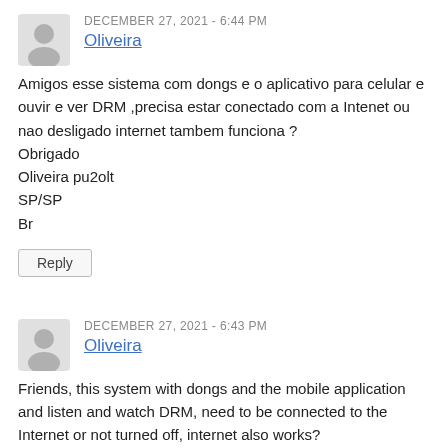DECEMBER 27, 2021 - 6:44 PM
Oliveira
Amigos esse sistema com dongs e o aplicativo para celular e ouvir e ver DRM ,precisa estar conectado com a Intenet ou nao desligado internet tambem funciona ?
Obrigado
Oliveira pu2olt
SP/SP
Br
Reply
DECEMBER 27, 2021 - 6:43 PM
Oliveira
Friends, this system with dongs and the mobile application and listen and watch DRM, need to be connected to the Internet or not turned off, internet also works?
Thanks
olive pu2olt